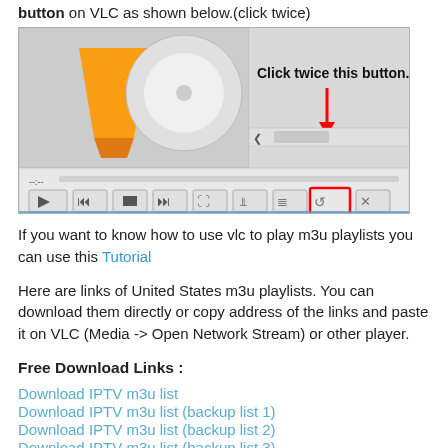button on VLC as shown below.(click twice)
[Figure (screenshot): VLC media player interface screenshot showing playback controls with the loop/repeat button highlighted in a red rectangle, and an arrow pointing to it with 'Click twice this button.' label]
If you want to know how to use vlc to play m3u playlists you can use this Tutorial
Here are links of United States m3u playlists. You can download them directly or copy address of the links and paste it on VLC (Media -> Open Network Stream) or other player.
Free Download Links :
Download IPTV m3u list
Download IPTV m3u list (backup list 1)
Download IPTV m3u list (backup list 2)
Download IPTV m3u list (backup list 3)